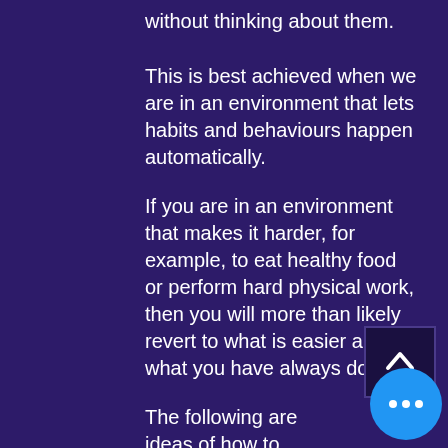without thinking about them.
This is best achieved when we are in an environment that lets habits and behaviours happen automatically.
If you are in an environment that makes it harder, for example, to eat healthy food or perform hard physical work, then you will more than likely revert to what is easier and what you have always done.
The following are ideas of how to make your environment instantly healthier:
1. Don't have any processed sugar food in the house. If you want them,